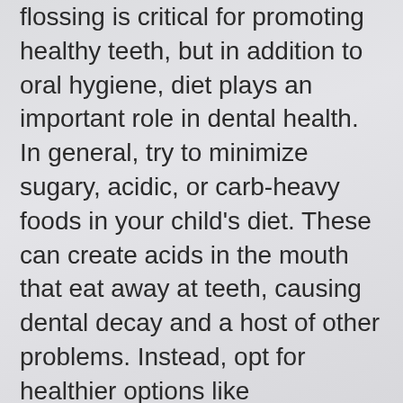flossing is critical for promoting healthy teeth, but in addition to oral hygiene, diet plays an important role in dental health. In general, try to minimize sugary, acidic, or carb-heavy foods in your child's diet. These can create acids in the mouth that eat away at teeth, causing dental decay and a host of other problems. Instead, opt for healthier options like vegetables, cheese, and low-fat yogurt. In addition to being healthy for a growing child, these foods all help keep teeth strong.
How to Prevent Baby Bottle Decay
One of the most important things for parents to watch out for during a child's dental development is baby bottle decay, a condition in